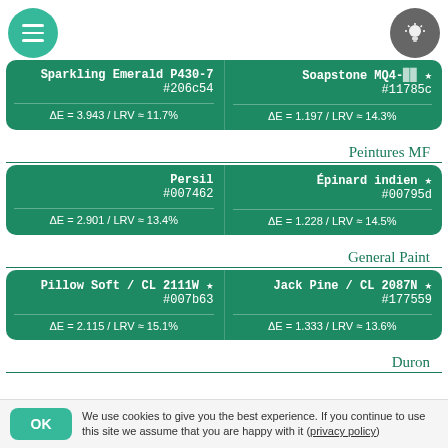[Figure (screenshot): Color comparison app showing paint color matches. Top section: Sparkling Emerald P430-7 (#206c54, ΔE=3.943/LRV≈11.7%) and Soapstone MQ4 (#11785c, ΔE=1.197/LRV≈14.3%). Peintures MF brand. Persil (#007462, ΔE=2.901/LRV≈13.4%) and Épinard indien (#00795d, ΔE=1.228/LRV≈14.5%). General Paint brand. Pillow Soft / CL 2111W (#007b63, ΔE=2.115/LRV≈15.1%) and Jack Pine / CL 2087N (#177559, ΔE=1.333/LRV≈13.6%). Duron brand. Greens and Starboard (partially visible).]
We use cookies to give you the best experience. If you continue to use this site we assume that you are happy with it (privacy policy)